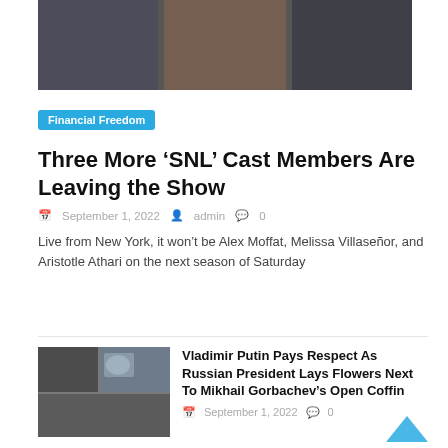[Figure (photo): Three SNL cast members in a composite photo]
Financial Freedom
Three More ‘SNL’ Cast Members Are Leaving the Show
September 1, 2022   admin   0
Live from New York, it won’t be Alex Moffat, Melissa Villaseñor, and Aristotle Athari on the next season of Saturday
[Figure (photo): Vladimir Putin and other officials at an open coffin ceremony]
Vladimir Putin Pays Respect As Russian President Lays Flowers Next To Mikhail Gorbachev’s Open Coffin
September 1, 2022   0